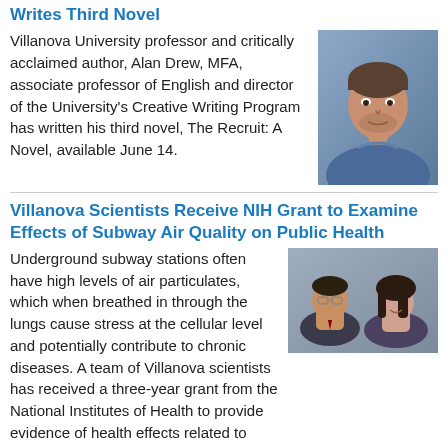Writes Third Novel
Villanova University professor and critically acclaimed author, Alan Drew, MFA, associate professor of English and director of the University's Creative Writing Program has written his third novel, The Recruit: A Novel, available June 14.
[Figure (photo): Headshot of a man in a blue shirt]
Villanova Scientists Receive NIH Grant to Examine Effects of Subway Air Quality on Public Health
Underground subway stations often have high levels of air particulates, which when breathed in through the lungs cause stress at the cellular level and potentially contribute to chronic diseases. A team of Villanova scientists has received a three-year grant from the National Institutes of Health to provide evidence of health effects related to exposure to subway particles
[Figure (photo): Headshots of two scientists, a man and a woman]
Bigger than baseball: Villanova professor teaching America's pastime as symbol for American culture
After months of uncertainty and a historic stoppage of play, 14 teams took the field on Major League Baseball's Opening Day. But before the first pitch was thrown Thursday, Jennifer Joyce, PhD